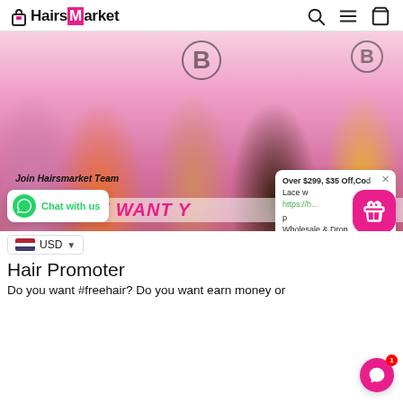[Figure (logo): HairsMarket logo with shopping bag icon]
[Figure (photo): Group photo of five people posing in front of a pink balloon backdrop with 'Join Hairsmarket Team' and 'WE WANT Y' text overlay. Chat with us widget and promotional popup visible.]
Hair Promoter
Do you want #freehair? Do you want earn money or